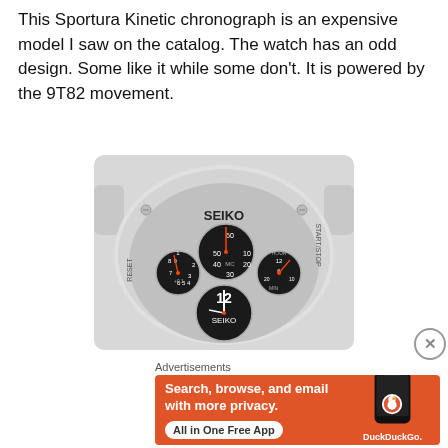This Sportura Kinetic chronograph is an expensive model I saw on the catalog. The watch has an odd design. Some like it while some don't. It is powered by the 9T82 movement.
[Figure (photo): Close-up photo of a Seiko Sportura Kinetic chronograph watch face, showing multiple sub-dials with numbers, RESET and START/STOP pusher labels, and SEIKO branding. The watch has a silver case with a distinctive rounded design.]
Advertisements
[Figure (illustration): DuckDuckGo advertisement banner with orange background. Text reads 'Search, browse, and email with more privacy. All in One Free App' with a DuckDuckGo logo and phone image on the right.]